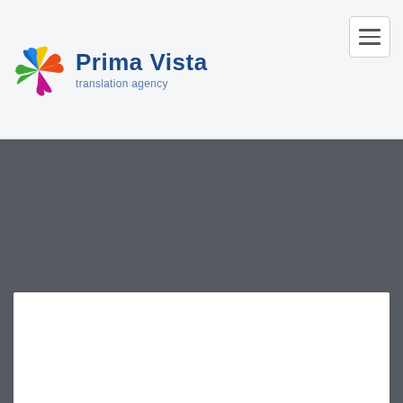[Figure (logo): Prima Vista translation agency logo with colorful star/pinwheel shape and blue bold text]